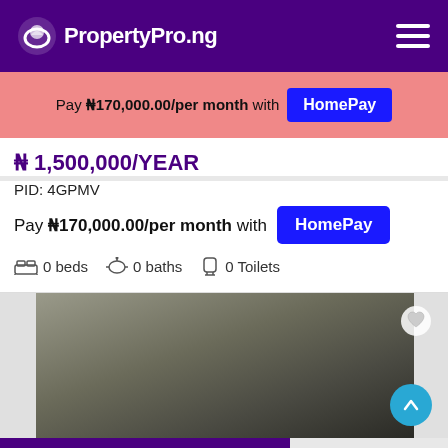PropertyPro.ng
Pay ₦170,000.00/per month with HomePay
₦ 1,500,000/YEAR
PID: 4GPMV
Pay ₦170,000.00/per month with HomePay
0 beds   0 baths   0 Toilets
[Figure (photo): Interior room photo, dark/grey tones]
08140